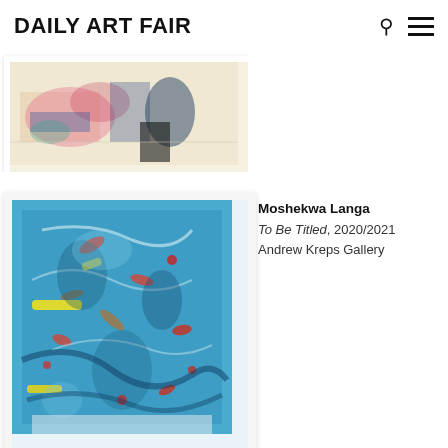Daily Art Fair
[Figure (photo): Framed artwork partially visible at top of page, showing colorful abstract painting with pink, blue, and dark accents on a light background, white frame.]
[Figure (photo): Framed abstract painting by Moshekwa Langa titled To Be Titled, 2020/2021. Predominantly vibrant blue with gestural brushwork and splashes of yellow, red, orange, and white. White frame on light grey background.]
Moshekwa Langa
To Be Titled, 2020/2021
Andrew Kreps Gallery